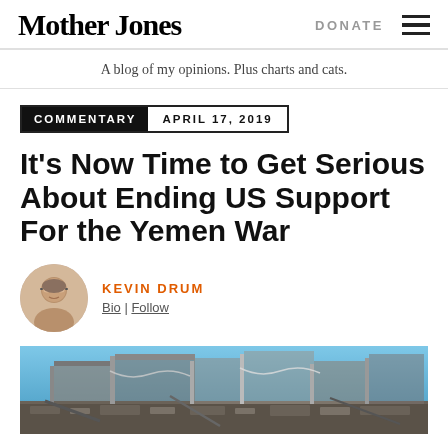Mother Jones | DONATE
A blog of my opinions. Plus charts and cats.
COMMENTARY  APRIL 17, 2019
It's Now Time to Get Serious About Ending US Support For the Yemen War
KEVIN DRUM
Bio | Follow
[Figure (photo): Photograph of war damage in Yemen — destroyed building structure against a blue sky]